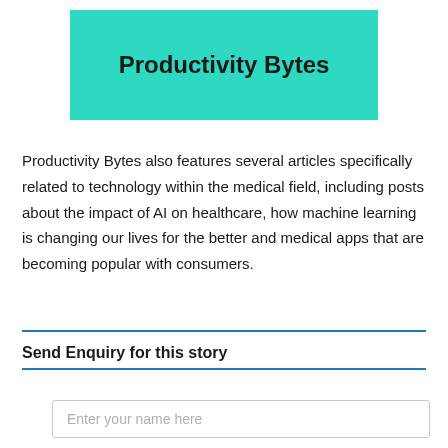Productivity Bytes
Productivity Bytes also features several articles specifically related to technology within the medical field, including posts about the impact of AI on healthcare, how machine learning is changing our lives for the better and medical apps that are becoming popular with consumers.
Send Enquiry for this story
Enter your name here